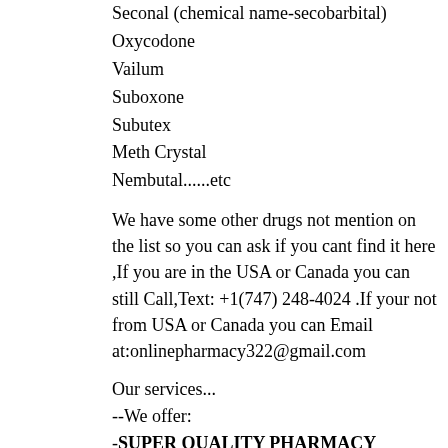Seconal (chemical name-secobarbital)
Oxycodone
Vailum
Suboxone
Subutex
Meth Crystal
Nembutal......etc
We have some other drugs not mention on the list so you can ask if you cant find it here ,If you are in the USA or Canada you can still Call,Text: +1(747) 248-4024 .If your not from USA or Canada you can Email at:onlinepharmacy322@gmail.com
Our services...
--We offer:
-SUPER QUALITY PHARMACY GRADE MEDICINES.
-No prescription required
-Express prior overnight or next day delivery
-Packing is highly discreet sealed, wrapped with an aluminum foil, safe and secure
-No signature required upon arrival of parcel
-Money back guarantee
-I offer door to door delivery services
-Excellent and unbeatable prices.
-Good quality Meds